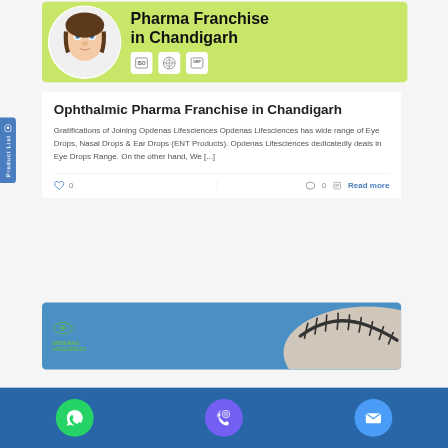[Figure (photo): Green banner with circular photo of person applying eye drops, text 'Pharma Franchise in Chandigarh' and ISO/GMP certification icons]
Ophthalmic Pharma Franchise in Chandigarh
Gratifications of Joining Opdenas Lifesciences Opdenas Lifesciences has wide range of Eye Drops, Nasal Drops & Ear Drops (ENT Products). Opdenas Lifesciences dedicatedly deals in Eye Drops Range. On the other hand, We [...]
♡ 0   💬 0  📄 Read more
[Figure (photo): Blue banner with Opdenas Lifesciences eye logo and close-up of eye with eyelashes]
[Figure (infographic): App bottom bar with WhatsApp (green), Viber (purple), and Mail (blue) icons on dark blue background]